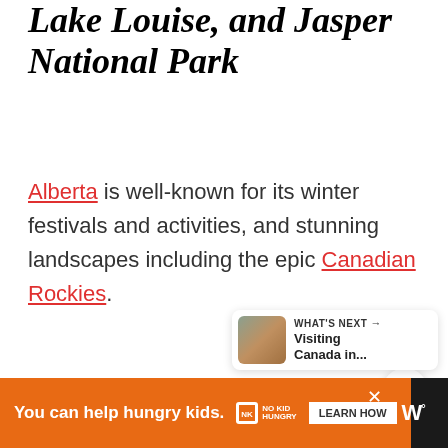Lake Louise, and Jasper National Park
Alberta is well-known for its winter festivals and activities, and stunning landscapes including the epic Canadian Rockies.
[Figure (screenshot): Gray content area below body text]
[Figure (screenshot): What's Next panel showing 'Visiting Canada in...' with landscape thumbnail]
[Figure (screenshot): Bottom advertisement bar: orange background with 'You can help hungry kids.' No Kid Hungry logo and LEARN HOW button]